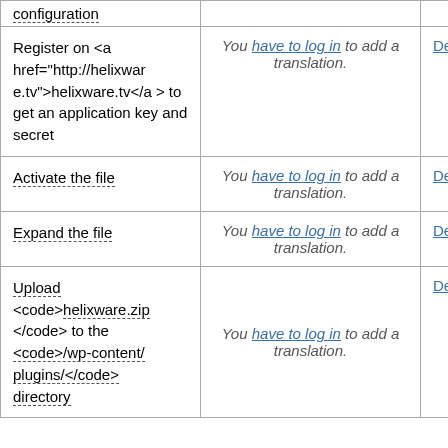| Message | Translation | Action |
| --- | --- | --- |
| configuration |  |  |
| Register on <a href="http://helixware.tv">helixware.tv</a> to get an application key and secret | You have to log in to add a translation. | Details |
| Activate the file | You have to log in to add a translation. | Details |
| Expand the file | You have to log in to add a translation. | Details |
| Upload <code>helixware.zip</code> to the <code>/wp-content/plugins/</code> directory | You have to log in to add a translation. | Details |